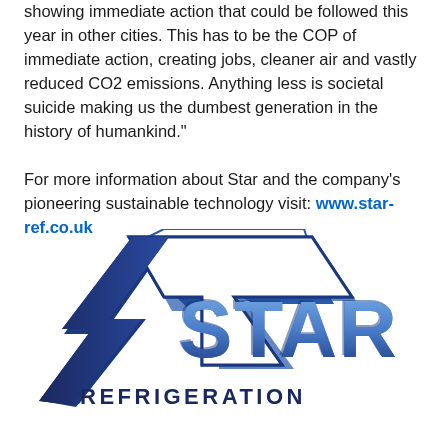showing immediate action that could be followed this year in other cities. This has to be the COP of immediate action, creating jobs, cleaner air and vastly reduced CO2 emissions. Anything less is societal suicide making us the dumbest generation in the history of humankind."
For more information about Star and the company's pioneering sustainable technology visit: www.star-ref.co.uk
[Figure (logo): Star Refrigeration company logo featuring a large star outline with an arrow/chevron shape on the left, and the text STAR in large blue letters with REFRIGERATION below in dark navy uppercase letters.]